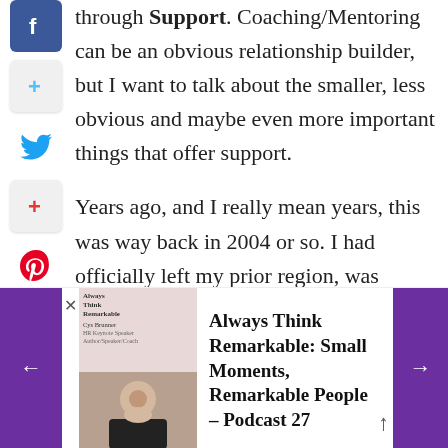through Support. Coaching/Mentoring can be an obvious relationship builder, but I want to talk about the smaller, less obvious and maybe even more important things that offer support.
Years ago, and I really mean years, this was way back in 2004 or so. I had officially left my prior region, was working with new groups in Los Angeles and coming to
[Figure (screenshot): Podcast navigation bar at the bottom of the page with purple left/right arrows, thumbnail images of a woman, small text metadata, and bold title 'Always Think Remarkable: Small Moments, Remarkable People – Podcast 27']